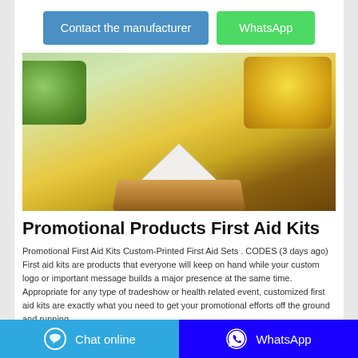Contact the manufacturer
WhatsApp
[Figure (photo): A pile of white powder on a wooden tray with blurred green and yellow packaging in the background]
Promotional Products First Aid Kits
Promotional First Aid Kits Custom-Printed First Aid Sets . CODES (3 days ago) First aid kits are products that everyone will keep on hand while your custom logo or important message builds a major presence at the same time. Appropriate for any type of tradeshow or health related event, customized first aid kits are exactly what you need to get your promotional efforts off the ground and running.
Chat online   WhatsApp